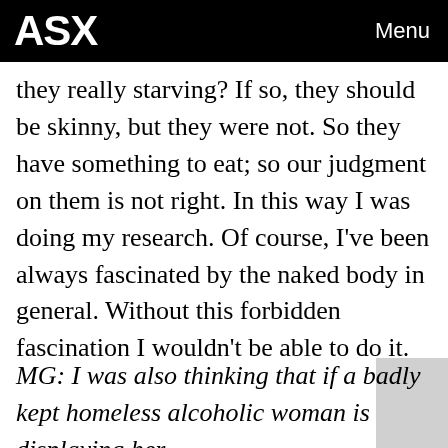ASX  Menu
they really starving? If so, they should be skinny, but they were not. So they have something to eat; so our judgment on them is not right. In this way I was doing my research. Of course, I've been always fascinated by the naked body in general. Without this forbidden fascination I wouldn't be able to do it.
MG: I was also thinking that if a badly kept homeless alcoholic woman is displaying her